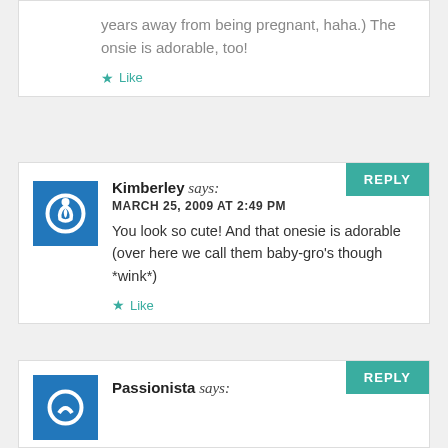years away from being pregnant, haha.) The onsie is adorable, too!
Like
Kimberley says:
MARCH 25, 2009 AT 2:49 PM
You look so cute! And that onesie is adorable (over here we call them baby-gro's though *wink*)
Like
Passionista says: